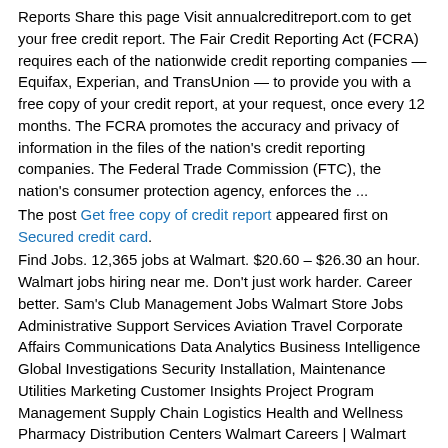Reports Share this page Visit annualcreditreport.com to get your free credit report. The Fair Credit Reporting Act (FCRA) requires each of the nationwide credit reporting companies — Equifax, Experian, and TransUnion — to provide you with a free copy of your credit report, at your request, once every 12 months. The FCRA promotes the accuracy and privacy of information in the files of the nation's credit reporting companies. The Federal Trade Commission (FTC), the nation's consumer protection agency, enforces the ...
The post Get free copy of credit report appeared first on Secured credit card.
Find Jobs. 12,365 jobs at Walmart. $20.60 – $26.30 an hour. Walmart jobs hiring near me. Don't just work harder. Career better. Sam's Club Management Jobs Walmart Store Jobs Administrative Support Services Aviation Travel Corporate Affairs Communications Data Analytics Business Intelligence Global Investigations Security Installation, Maintenance Utilities Marketing Customer Insights Project Program Management Supply Chain Logistics Health and Wellness Pharmacy Distribution Centers Walmart Careers | Walmart Application | Walmart Jobs A culture of success We define culture as our values in action. Smart benefits American renewal We are committed to U.S. manufacturing. Diversity inclusion By fostering a workplace culture where …
Walmart Jobs
latest news
Credit one visa customer service number
#Credit #one #visa #customer #service #number Credit one visa